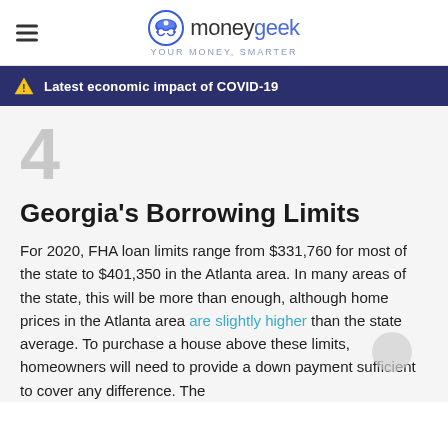moneygeek YOUR MONEY, SMARTER
Latest economic impact of COVID-19
4
Georgia's Borrowing Limits
For 2020, FHA loan limits range from $331,760 for most of the state to $401,350 in the Atlanta area. In many areas of the state, this will be more than enough, although home prices in the Atlanta area are slightly higher than the state average. To purchase a house above these limits, homeowners will need to provide a down payment sufficient to cover any difference. The